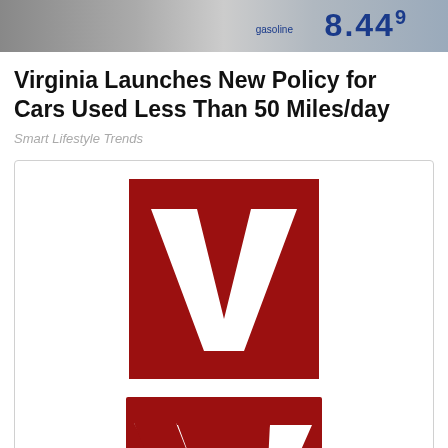[Figure (photo): Partial photo of a gas station price sign showing gasoline price digits]
Virginia Launches New Policy for Cars Used Less Than 50 Miles/day
Smart Lifestyle Trends
[Figure (logo): VT (Veterans Today) logo — white letters VT on dark red square background]
VT Editors
VT Editors is a General Posting account managed by Jim W. Dean and Gordon Duff. All content herein is owned and copyrighted by Jim W. Dean and Gordon Duff